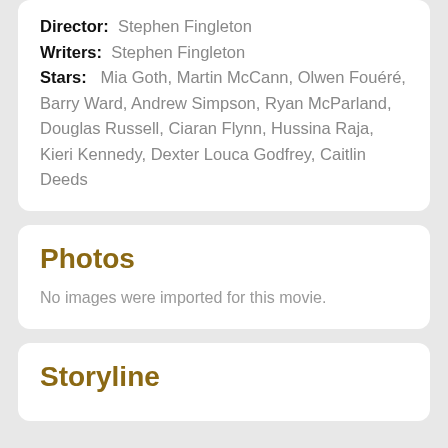Director: Stephen Fingleton
Writers: Stephen Fingleton
Stars: Mia Goth, Martin McCann, Olwen Fouéré, Barry Ward, Andrew Simpson, Ryan McParland, Douglas Russell, Ciaran Flynn, Hussina Raja, Kieri Kennedy, Dexter Louca Godfrey, Caitlin Deeds
Photos
No images were imported for this movie.
Storyline